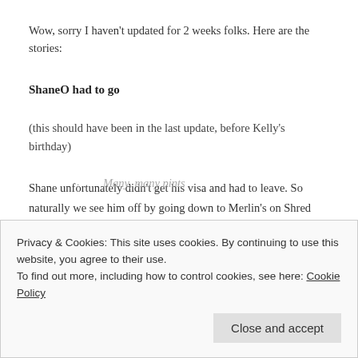Wow, sorry I haven't updated for 2 weeks folks. Here are the stories:
ShaneO had to go
(this should have been in the last update, before Kelly's birthday)
Shane unfortunately didn't get his visa and had to leave. So naturally we see him off by going down to Merlin's on Shred night and drinking ourselves stupid while reminiscing etc. Highlights of the night included:
Liam putting Hugo in a headlock for timeout
Privacy & Cookies: This site uses cookies. By continuing to use this website, you agree to their use.
To find out more, including how to control cookies, see here: Cookie Policy
Many, many pints